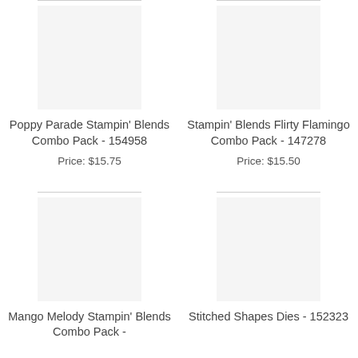[Figure (photo): Product image placeholder for Poppy Parade Stampin' Blends Combo Pack]
Poppy Parade Stampin' Blends Combo Pack - 154958
Price: $15.75
[Figure (photo): Product image placeholder for Stampin' Blends Flirty Flamingo Combo Pack]
Stampin' Blends Flirty Flamingo Combo Pack - 147278
Price: $15.50
[Figure (photo): Product image placeholder for Mango Melody Stampin' Blends Combo Pack]
Mango Melody Stampin' Blends Combo Pack -
[Figure (photo): Product image placeholder for Stitched Shapes Dies]
Stitched Shapes Dies - 152323